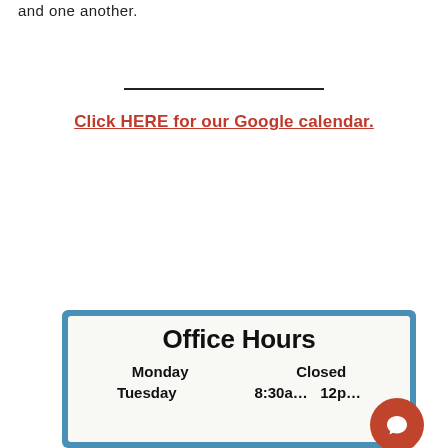and one another.
Click HERE for our Google calendar.
[Figure (infographic): Office Hours sign with blue border showing Monday: Closed and Tuesday (partial, cut off at bottom)]